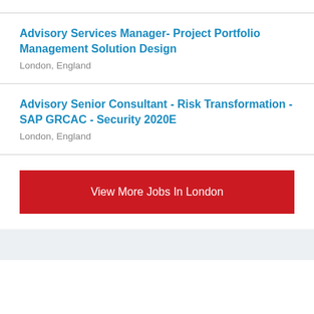Advisory Services Manager- Project Portfolio Management Solution Design
London, England
Advisory Senior Consultant - Risk Transformation - SAP GRCAC - Security 2020E
London, England
View More Jobs In London